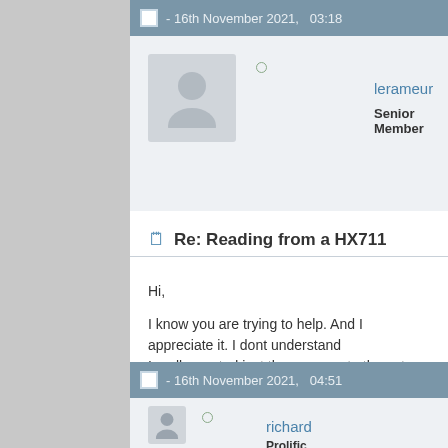- 16th November 2021, 03:18
lerameur
Senior Member
Re: Reading from a HX711
Hi,

I know you are trying to help. And I appreciate it. I dont understand...
I really wanted just the answers to those two issues so i can do 10...

Ken
- 16th November 2021, 04:51
richard
Prolific Poster